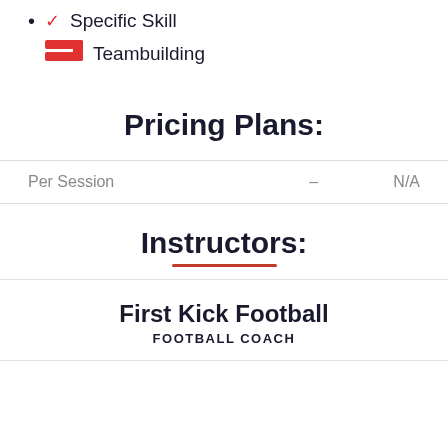Specific Skill
Teambuilding
Pricing Plans:
|  |  |  |
| --- | --- | --- |
| Per Session | – | N/A |
Instructors:
First Kick Football
FOOTBALL COACH